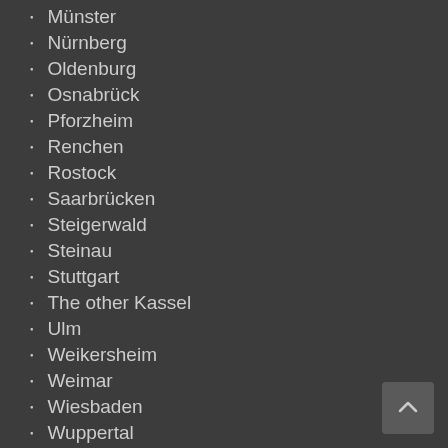Münster
Nürnberg
Oldenburg
Osnabrück
Pforzheim
Renchen
Rostock
Saarbrücken
Steigerwald
Steinau
Stuttgart
The other Kassel
Ulm
Weikersheim
Weimar
Wiesbaden
Wuppertal
Würzburg
Hong Kong
Italy